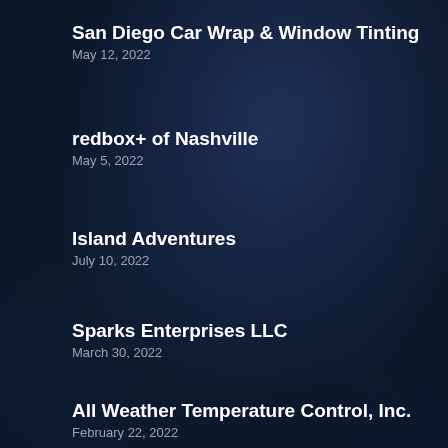San Diego Car Wrap & Window Tinting
May 12, 2022
redbox+ of Nashville
May 5, 2022
Island Adventures
July 10, 2022
Sparks Enterprises LLC
March 30, 2022
All Weather Temperature Control, Inc.
February 22, 2022
...